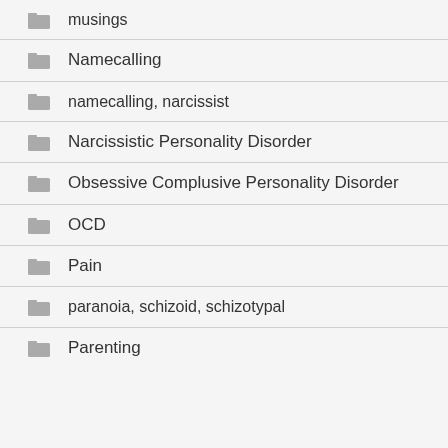musings
Namecalling
namecalling, narcissist
Narcissistic Personality Disorder
Obsessive Complusive Personality Disorder
OCD
Pain
paranoia, schizoid, schizotypal
Parenting